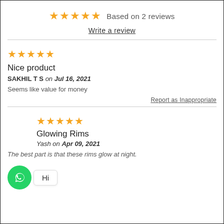★★★★★ Based on 2 reviews
Write a review
★★★★★
Nice product
SAKHIL T S on Jul 16, 2021
Seems like value for money
Report as Inappropriate
★★★★★
Glowing Rims
Yash on Apr 09, 2021
The best part is that these rims glow at night.
[Figure (logo): WhatsApp icon with Hi bubble popup]